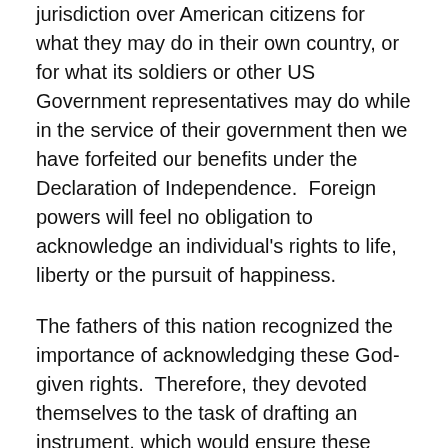jurisdiction over American citizens for what they may do in their own country, or for what its soldiers or other US Government representatives may do while in the service of their government then we have forfeited our benefits under the Declaration of Independence.  Foreign powers will feel no obligation to acknowledge an individual's rights to life, liberty or the pursuit of happiness.
The fathers of this nation recognized the importance of acknowledging these God-given rights.  Therefore, they devoted themselves to the task of drafting an instrument, which would ensure these rights for all citizens.  Its comprehensiveness, economy of words, and simplicity of form are nothing less than marvelous.
If we reject the wisdom of our nation's founding fathers, what do we stand to gain from such a mindless deed?